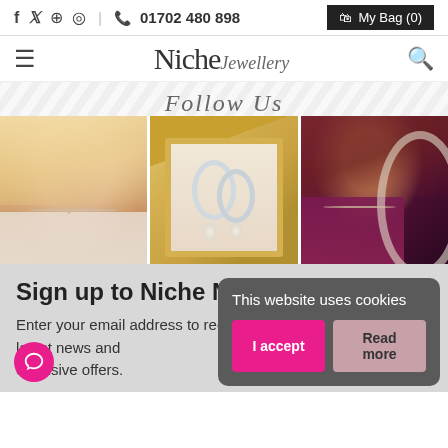f  y  Pinterest  Instagram  |  Phone  01702 480 898   My Bag (0)
Niche Jewellery — navigation header with hamburger menu and search icon
Follow Us
[Figure (photo): Three photos side by side: blonde woman wearing ear cuff and necklace; silver hoop earrings with pearl drops on gold frame; brunette woman in purple jacket wearing bracelet and necklace, reflected in mirror]
Sign up to Niche News
Enter your email address to receive our latest news and exclusive offers.
This website uses cookies
I accept
Read more